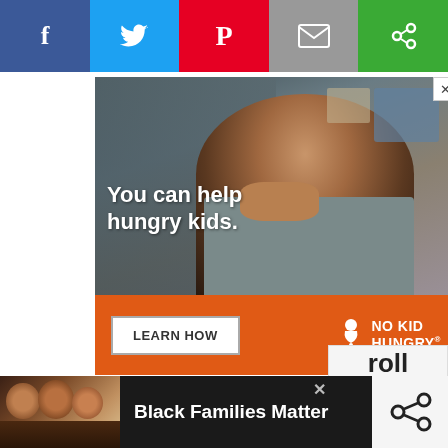[Figure (screenshot): Social share bar with Facebook, Twitter, Pinterest, Email, and a green icon button]
[Figure (photo): No Kid Hungry ad banner. A young boy eating in a classroom. Text: 'You can help hungry kids.' Orange bar below with 'LEARN HOW' button and No Kid Hungry logo.]
[Figure (screenshot): Partially visible right sidebar panel with text 'roll to on' and a partially visible icon]
[Figure (photo): Bottom ad strip on dark background showing smiling family photo and bold text 'Black Families Matter' with a close button and right-side icon]